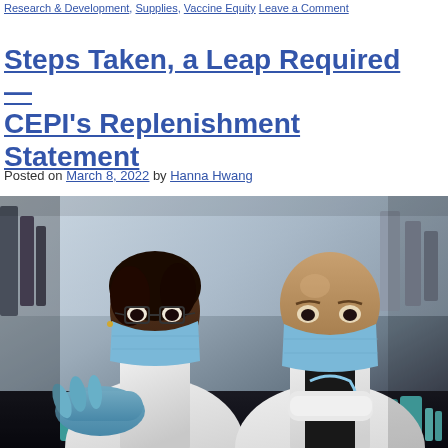Research & Development, Supplies, Vaccine Equity Leave a Comment
Steps Taken, a Leap Required — CEPI's Replenishment Statement
Posted on March 8, 2022 by Hanna Hwang
[Figure (photo): Two scientists wearing white lab coats and blue surgical masks working in a laboratory setting, with lab equipment and vials visible in the foreground.]